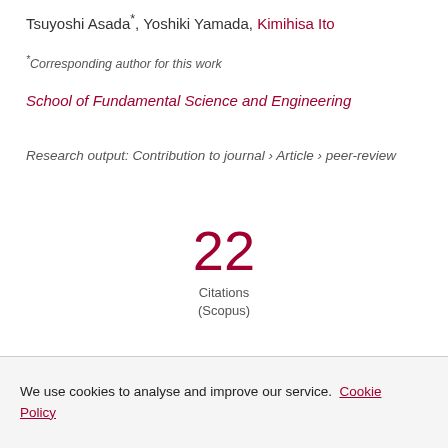Tsuyoshi Asada*, Yoshiki Yamada, Kimihisa Ito
*Corresponding author for this work
School of Fundamental Science and Engineering
Research output: Contribution to journal › Article › peer-review
22 Citations (Scopus)
We use cookies to analyse and improve our service. Cookie Policy